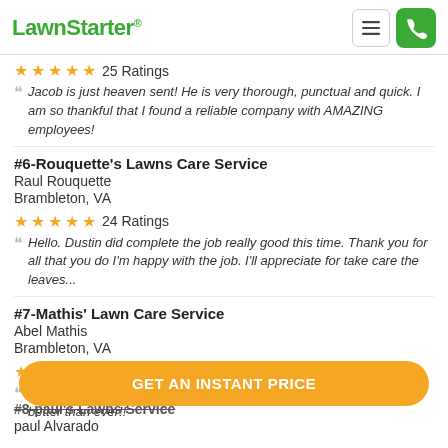LawnStarter
25 Ratings
Jacob is just heaven sent! He is very thorough, punctual and quick. I am so thankful that I found a reliable company with AMAZING employees!
#6-Rouquette's Lawns Care Service
Raul Rouquette
Brambleton, VA
24 Ratings
Hello. Dustin did complete the job really good this time. Thank you for all that you do I'm happy with the job. I'll appreciate for take care the leaves...
#7-Mathis' Lawn Care Service
Abel Mathis
Brambleton, VA
23 Ratings
Great job as usual! Larry is on the way to having our yard looking better than ever!!
GET AN INSTANT PRICE
#8-paul's Lawns Service
paul Alvarado